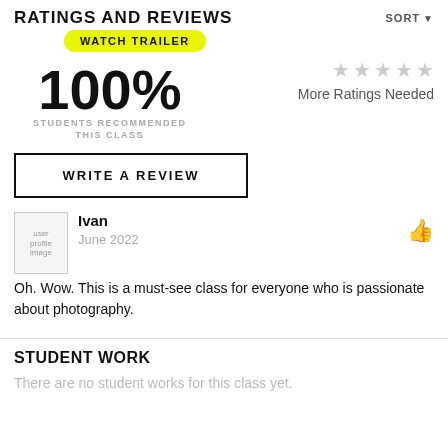RATINGS AND REVIEWS
SORT
[Figure (other): Yellow pill button labeled WATCH TRAILER]
100%
STUDENTS RECOMMENDED THIS CLASS
[Figure (other): 5 grey stars with label More Ratings Needed]
More Ratings Needed
WRITE A REVIEW
[Figure (photo): user profile image placeholder]
Ivan
June 2022
Oh. Wow. This is a must-see class for everyone who is passionate about photography.
STUDENT WORK
There are no student works for this class yet.